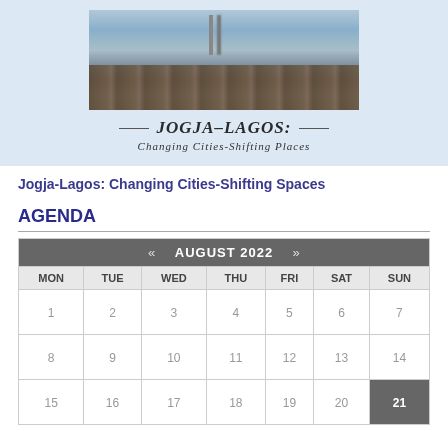[Figure (illustration): Banner image showing boats/harbor scene with text overlay: JOGJA-LAGOS: Changing Cities-Shifting Places on light blue background]
Jogja-Lagos: Changing Cities-Shifting Spaces
AGENDA
| « | AUGUST 2022 | » |  |  |  |  |
| --- | --- | --- | --- | --- | --- | --- |
| MON | TUE | WED | THU | FRI | SAT | SUN |
| 1 | 2 | 3 | 4 | 5 | 6 | 7 |
| 8 | 9 | 10 | 11 | 12 | 13 | 14 |
| 15 | 16 | 17 | 18 | 19 | 20 | 21 |